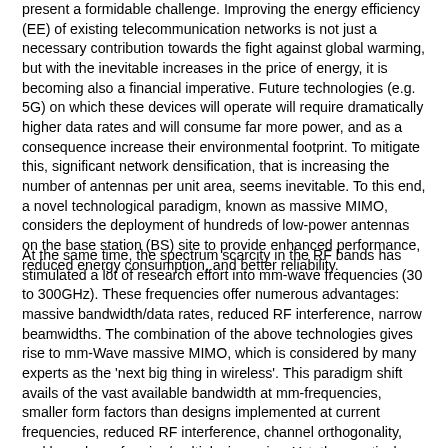present a formidable challenge. Improving the energy efficiency (EE) of existing telecommunication networks is not just a necessary contribution towards the fight against global warming, but with the inevitable increases in the price of energy, it is becoming also a financial imperative. Future technologies (e.g. 5G) on which these devices will operate will require dramatically higher data rates and will consume far more power, and as a consequence increase their environmental footprint. To mitigate this, significant network densification, that is increasing the number of antennas per unit area, seems inevitable. To this end, a novel technological paradigm, known as massive MIMO, considers the deployment of hundreds of low-power antennas on the base station (BS) site to provide enhanced performance, reduced energy consumption, and better reliability.
At the same time, the spectrum scarcity in the RF bands has stimulated a lot of research effort into mm-wave frequencies (30 to 300GHz). These frequencies offer numerous advantages: massive bandwidth/data rates, reduced RF interference, narrow beamwidths. The combination of the above technologies gives rise to mm-Wave massive MIMO, which is considered by many experts as the 'next big thing in wireless'. This paradigm shift avails of the vast available bandwidth at mm-frequencies, smaller form factors than designs implemented at current frequencies, reduced RF interference, channel orthogonality, and large beamforming/multiplexing gains. Yet, the practical design of mm-Wave massive MIMO faces many fundamental challenges, in respect of total energy consumption, circuitry cost, digital signal processing among others. In the context of the project, we envision a mm-wave massive MIMO topology performing a fraction of processing in the baseband (digital) and the remaining fraction in the RF band (analogue), with a reduced number of RF chains, to effectively address most of these challenges. In addition, by deploying low resolution (coarse) analog to